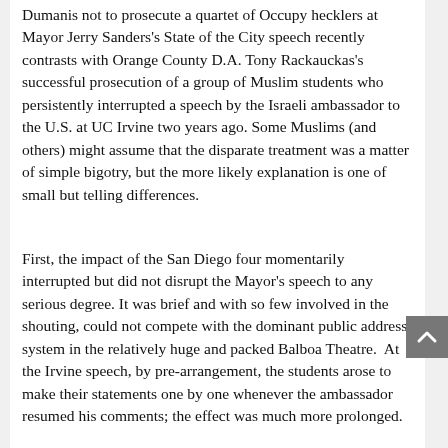Dumanis not to prosecute a quartet of Occupy hecklers at Mayor Jerry Sanders's State of the City speech recently contrasts with Orange County D.A. Tony Rackauckas's successful prosecution of a group of Muslim students who persistently interrupted a speech by the Israeli ambassador to the U.S. at UC Irvine two years ago. Some Muslims (and others) might assume that the disparate treatment was a matter of simple bigotry, but the more likely explanation is one of small but telling differences.
First, the impact of the San Diego four momentarily interrupted but did not disrupt the Mayor's speech to any serious degree. It was brief and with so few involved in the shouting, could not compete with the dominant public address system in the relatively huge and packed Balboa Theatre.  At the Irvine speech, by pre-arrangement, the students arose to make their statements one by one whenever the ambassador resumed his comments; the effect was much more prolonged.